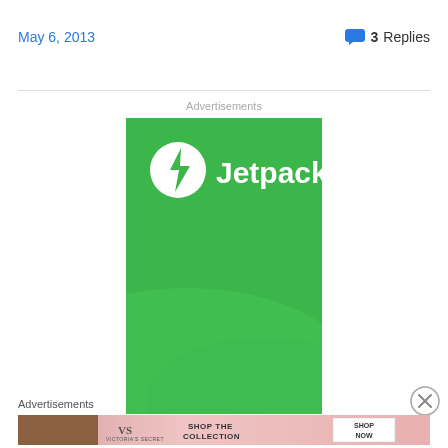May 6, 2013
3 Replies
Advertisements
[Figure (logo): Jetpack advertisement – green background with white Jetpack logo and text]
[Figure (other): Close/dismiss button (circled X)]
Advertisements
[Figure (photo): Victoria's Secret banner advertisement – pink background with model, VS logo, 'SHOP THE COLLECTION' text, and 'SHOP NOW' button]